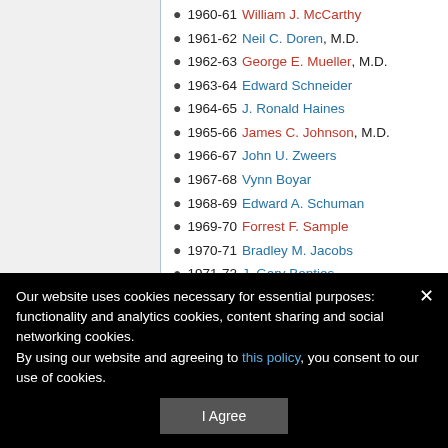1960-61 William J. McCarthy
1961-62 Neil C. Doren, M.D.
1962-63 George E. Mueller, M.D.
1963-64 Edward Schneider
1964-65 J. Ronald Haines
1965-66 James C. Johnson, M.D.
1966-67 John U. Zweers
1967-68 Vynn Boyar
1968-69 Edward A. Schuman
1969-70 Forrest F. Sample
1970-71 Bradley M. Jacobs
1971-72 J. Gary Bontjes
1972-73 Edward F. Mishell
Our website uses cookies necessary for essential purposes: functionality and analytics cookies, content sharing and social networking cookies. By using our website and agreeing to this policy, you consent to our use of cookies.
I Agree